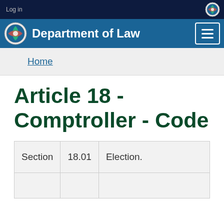Log in
Department of Law
Home
Article 18 - Comptroller - Code
| Section | 18.01 | Election. |
|  |  |  |